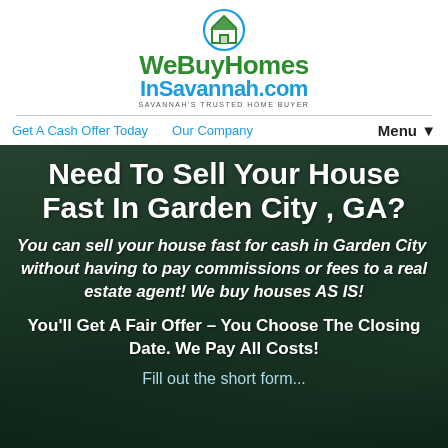[Figure (logo): WeBuyHomesInSavannah.com logo with house icon in teal circle, green and blue text, tagline SAVANNAH'S TRUSTED HOME BUYER]
Get A Cash Offer Today   Our Company   Menu▼
Need To Sell Your House Fast In Garden City , GA?
You can sell your house fast for cash in Garden City  without having to pay commissions or fees to a real estate agent! We buy houses AS IS!
You'll Get A Fair Offer – You Choose The Closing Date. We Pay All Costs!
Fill out the short form...
Call Us! 912-454-4818